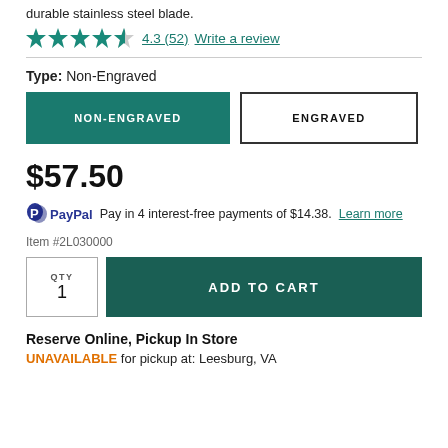durable stainless steel blade.
★★★★½  4.3 (52)  Write a review
Type: Non-Engraved
NON-ENGRAVED  |  ENGRAVED
$57.50
PayPal Pay in 4 interest-free payments of $14.38. Learn more
Item #2L030000
QTY 1  ADD TO CART
Reserve Online, Pickup In Store
UNAVAILABLE for pickup at: Leesburg, VA